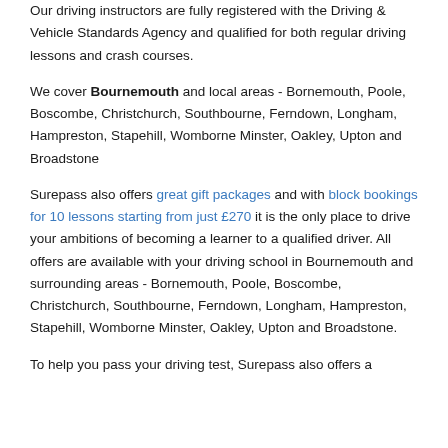Our driving instructors are fully registered with the Driving & Vehicle Standards Agency and qualified for both regular driving lessons and crash courses.
We cover Bournemouth and local areas - Bornemouth, Poole, Boscombe, Christchurch, Southbourne, Ferndown, Longham, Hampreston, Stapehill, Womborne Minster, Oakley, Upton and Broadstone
Surepass also offers great gift packages and with block bookings for 10 lessons starting from just £270 it is the only place to drive your ambitions of becoming a learner to a qualified driver. All offers are available with your driving school in Bournemouth and surrounding areas - Bornemouth, Poole, Boscombe, Christchurch, Southbourne, Ferndown, Longham, Hampreston, Stapehill, Womborne Minster, Oakley, Upton and Broadstone.
To help you pass your driving test, Surepass also offers a